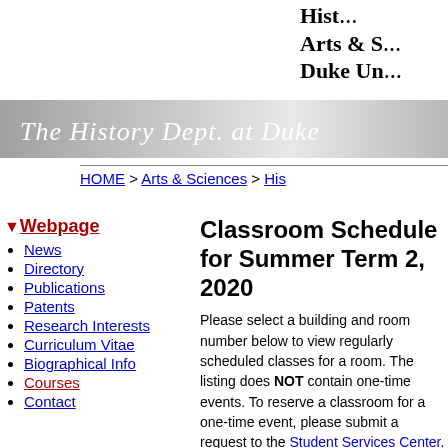Hist... Arts & S... Duke Un...
[Figure (logo): The History Dept. at Duke cursive logo banner in gray gradient]
HOME > Arts & Sciences > His...
Webpage
News
Directory
Publications
Patents
Research Interests
Curriculum Vitae
Biographical Info
Courses
Contact
Classroom Schedule for Summer Term 2, 2020
Please select a building and room number below to view regularly scheduled classes for a room. The listing does NOT contain one-time events. To reserve a classroom for a one-time event, please submit a request to the Student Services Center.
Classes regularly scheduled in Sanford for Summer2, 2020
| Day |
| --- |
| MON |
| TUES |
| WED |
| THURS |